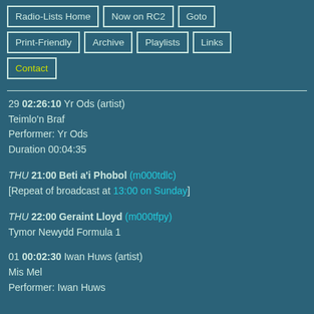Radio-Lists Home
Now on RC2
Goto
Print-Friendly
Archive
Playlists
Links
Contact
29 02:26:10 Yr Ods (artist)
Teimlo'n Braf
Performer: Yr Ods
Duration 00:04:35
THU 21:00 Beti a'i Phobol (m000tdlc)
[Repeat of broadcast at 13:00 on Sunday]
THU 22:00 Geraint Lloyd (m000tfpy)
Tymor Newydd Formula 1
01 00:02:30 Iwan Huws (artist)
Mis Mel
Performer: Iwan Huws